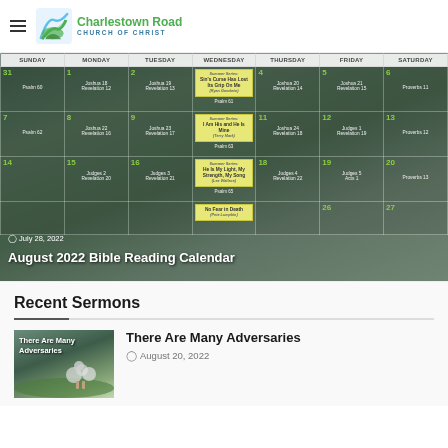Charlestown Road Church of Christ
[Figure (screenshot): August 2022 Bible Reading Calendar with a weekly calendar grid showing Bible readings and sermon topics for each Wednesday. Background is a scenic landscape photo. Days shown: 31 (Psalm 60), 1 (Joshua 18, Revelation 12), 2 (Joshua 19, Revelation 13), Wednesday sermon 'Sin's Curse Has Lost Its Grip On Me (Ryan Goodwin)', 4 (Joshua 20, Revelation 14), 5 (Joshua 21, Revelation 15), 6 (Proverbs 11), 7 (Psalm 62), 8 (Joshua 22, Revelation 16), 9 (Joshua 23, Revelation 17), Wednesday sermon 'I Am His and He Is Mine (Terry Mark)', 11 (Joshua 24, Revelation 18), 12 (Judges 1, Revelation 19), 13 (Proverbs 12), 14, 15 (Judges 2, Revelation 20), 16 (Judges 3, Revelation 21), Wednesday sermon 'He Is My Light, My Strength, My Song (Lee Wallace)', 18 (Judges 4, Revelation 22), 19 (Judges 5, Acts 1), 20 (Proverbs 13), 25, 26, 27, plus a partially visible row with Wednesday sermon about 'No Fear in Death (Pete Lumpkin)'.]
August 2022 Bible Reading Calendar
July 28, 2022
Recent Sermons
[Figure (photo): Thumbnail image showing a shepherd with sheep in a green pastoral landscape with hills and clouds]
There Are Many Adversaries
August 20, 2022